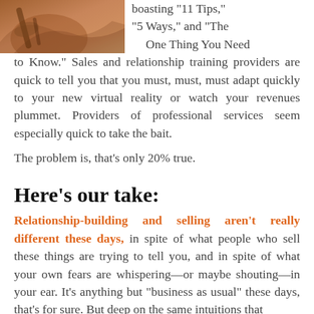[Figure (photo): Close-up photo of a hand holding or touching something, warm earth tones, partial view at top left of page]
boasting "11 Tips," "5 Ways," and "The One Thing You Need to Know." Sales and relationship training providers are quick to tell you that you must, must, must adapt quickly to your new virtual reality or watch your revenues plummet. Providers of professional services seem especially quick to take the bait.
The problem is, that's only 20% true.
Here’s our take:
Relationship-building and selling aren’t really different these days, in spite of what people who sell these things are trying to tell you, and in spite of what your own fears are whispering—or maybe shouting—in your ear. It’s anything but “business as usual” these days, that’s for sure. But deep on the same intuitions that